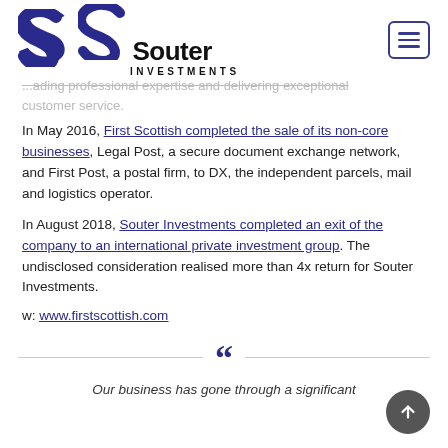Souter Investments
...leading professional expertise and delivering exceptional customer service.
In May 2016, First Scottish completed the sale of its non-core businesses, Legal Post, a secure document exchange network, and First Post, a postal firm, to DX, the independent parcels, mail and logistics operator.
In August 2018, Souter Investments completed an exit of the company to an international private investment group. The undisclosed consideration realised more than 4x return for Souter Investments.
w: www.firstscottish.com
Our business has gone through a significant